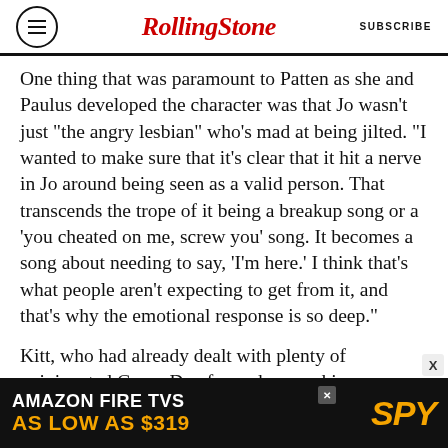RollingStone | SUBSCRIBE
One thing that was paramount to Patten as she and Paulus developed the character was that Jo wasn't just “the angry lesbian” who’s mad at being jilted. “I wanted to make sure that it’s clear that it hit a nerve in Jo around being seen as a valid person. That transcends the trope of it being a breakup song or a ‘you cheated on me, screw you’ song. It becomes a song about needing to say, ‘I’m here.’ I think that’s what people aren’t expecting to get from it, and that’s why the emotional response is so deep.”
Kitt, who had already dealt with plenty of opinionated Green Day fans when working on American Idiot, understands why fans — and
[Figure (infographic): Amazon Fire TVs advertisement banner: black background with white text 'AMAZON FIRE TVS' and orange text 'AS LOW AS $319', with SPY logo in orange italic on the right side.]